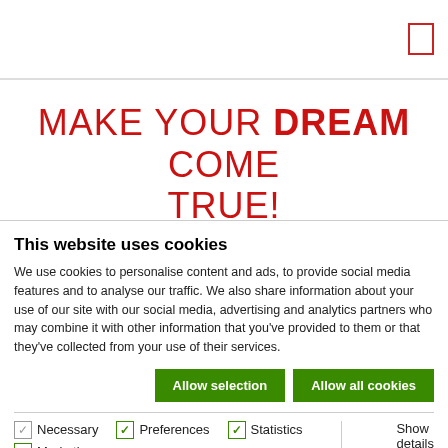MAKE YOUR DREAM COME TRUE!
This website uses cookies
We use cookies to personalise content and ads, to provide social media features and to analyse our traffic. We also share information about your use of our site with our social media, advertising and analytics partners who may combine it with other information that you've provided to them or that they've collected from your use of their services.
Allow selection | Allow all cookies
Necessary | Preferences | Statistics | Marketing | Show details